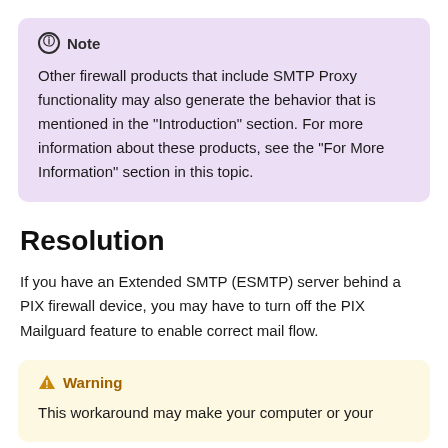Note
Other firewall products that include SMTP Proxy functionality may also generate the behavior that is mentioned in the "Introduction" section. For more information about these products, see the "For More Information" section in this topic.
Resolution
If you have an Extended SMTP (ESMTP) server behind a PIX firewall device, you may have to turn off the PIX Mailguard feature to enable correct mail flow.
Warning
This workaround may make your computer or your